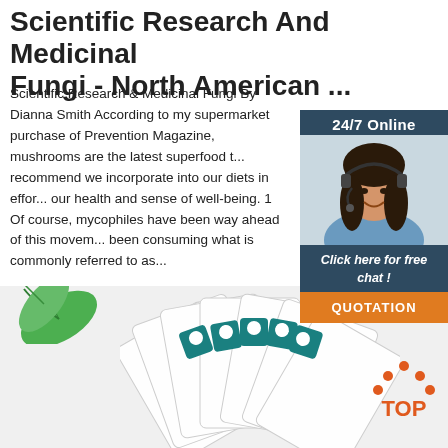Scientific Research And Medicinal Fungi - North American ...
Scientific Research & Medicinal Fungi By Dianna Smith According to my supermarket purchase of Prevention Magazine, mushrooms are the latest superfood t... recommend we incorporate into our diets in effor... our health and sense of well-being. 1 Of course, mycophiles have been way ahead of this movem... been consuming what is commonly referred to as...
[Figure (other): Green 'Get Price' button]
[Figure (other): 24/7 Online chat widget with photo of woman with headset, 'Click here for free chat!' text and orange QUOTATION button]
[Figure (other): Bottom area showing green leaves illustration on left, fanned white cards/booklets with teal logos in center, and red/orange TOP logo on right]